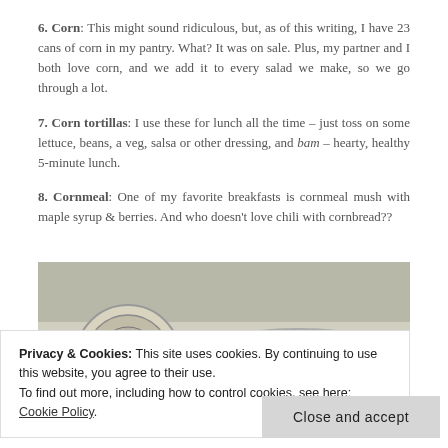6. Corn: This might sound ridiculous, but, as of this writing, I have 23 cans of corn in my pantry. What? It was on sale. Plus, my partner and I both love corn, and we add it to every salad we make, so we go through a lot.
7. Corn tortillas: I use these for lunch all the time – just toss on some lettuce, beans, a veg, salsa or other dressing, and bam – hearty, healthy 5-minute lunch.
8. Cornmeal: One of my favorite breakfasts is cornmeal mush with maple syrup & berries. And who doesn't love chili with cornbread??
[Figure (photo): A glass jar with a hinged lid, open, containing yellow cornmeal. The jar is photographed from above on a light gray surface.]
Privacy & Cookies: This site uses cookies. By continuing to use this website, you agree to their use. To find out more, including how to control cookies, see here: Cookie Policy
Close and accept